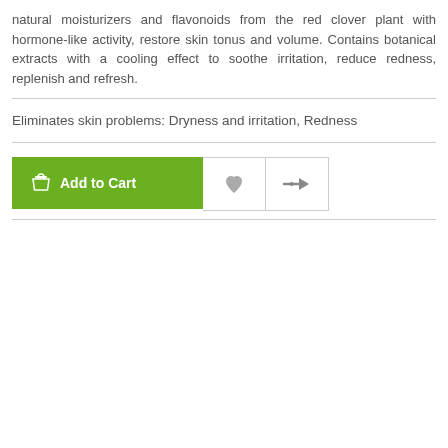natural moisturizers and flavonoids from the red clover plant with hormone-like activity, restore skin tonus and volume. Contains botanical extracts with a cooling effect to soothe irritation, reduce redness, replenish and refresh.
Eliminates skin problems: Dryness and irritation, Redness
[Figure (other): Add to Cart button (green), heart/wishlist button (grey), and compare button (grey arrow icon)]